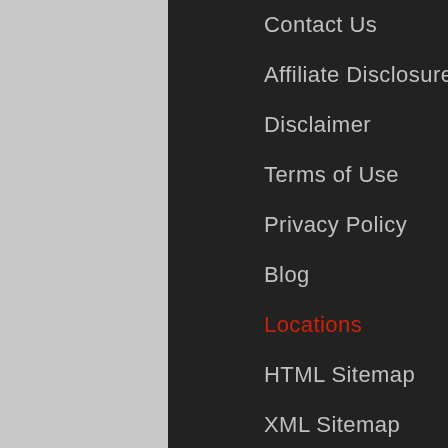Contact Us
Affiliate Disclosure
Disclaimer
Terms of Use
Privacy Policy
Blog
Locations
HTML Sitemap
XML Sitemap
Contact Details
North NJ HVAC Services
info@northnjhvac.com